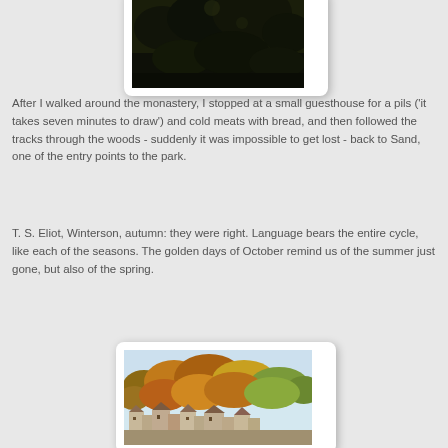[Figure (photo): A dark photograph showing a forest or wooded area, partially visible at the top of the page — dark tree canopy against a dim background.]
After I walked around the monastery, I stopped at a small guesthouse for a pils ('it takes seven minutes to draw') and cold meats with bread, and then followed the tracks through the woods - suddenly it was impossible to get lost - back to Sand, one of the entry points to the park.
T. S. Eliot, Winterson, autumn: they were right. Language bears the entire cycle, like each of the seasons. The golden days of October remind us of the summer just gone, but also of the spring.
[Figure (photo): A photograph of an autumn hillside with colorful orange and golden foliage, buildings visible at the bottom of the hill, and a clear pale blue sky — partially visible at the bottom of the page.]